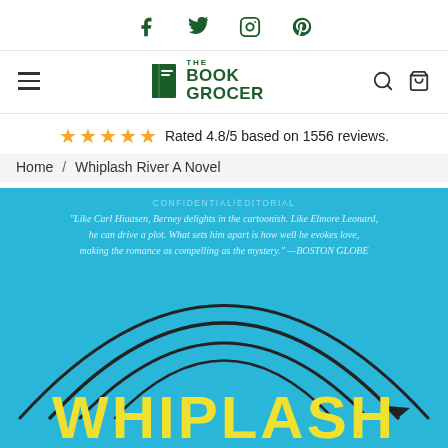Social icons: Facebook, Twitter, Instagram, Pinterest
[Figure (logo): The Book Grocer logo with green book icon and green text]
Rated 4.8/5 based on 1556 reviews.
Home / Whiplash River A Novel
[Figure (photo): Book cover of Whiplash River A Novel on a cyan/teal background. Shows curved arrow arcs and the word WHIPLASH in bold yellow at bottom. Quote text reads: Like Carl Hiaasen, Berney delights in the cartoonish. Like Elmore Leonard, he can drive a plot. What sets him apart is how well he evokes love, making the romance as compelling as the mystery. —BOSTON GLOBE]